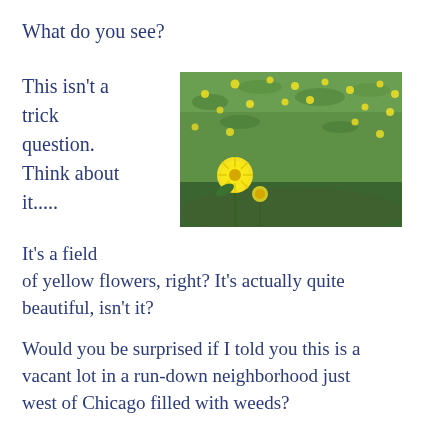What do you see?
This isn't a trick question. Think about it.....
[Figure (photo): A field of yellow dandelion flowers growing in green grass, with a close-up dandelion in the foreground at lower left.]
It's a field of yellow flowers, right? It's actually quite beautiful, isn't it?
Would you be surprised if I told you this is a vacant lot in a run-down neighborhood just west of Chicago filled with weeds?